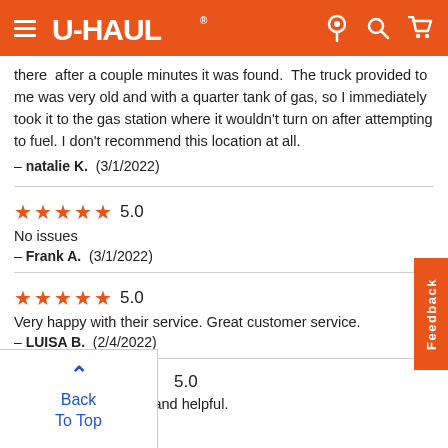U-HAUL
there  after a couple minutes it was found.  The truck provided to me was very old and with a quarter tank of gas, so I immediately took it to the gas station where it wouldn't turn on after attempting to fuel. I don't recommend this location at all.
— natalie K.  (3/1/2022)
★★★★★ 5.0
No issues
— Frank A.  (3/1/2022)
★★★★★ 5.0
Very happy with their service. Great customer service.
— LUISA B.  (2/4/2022)
5.0
Very accommodating and helpful.